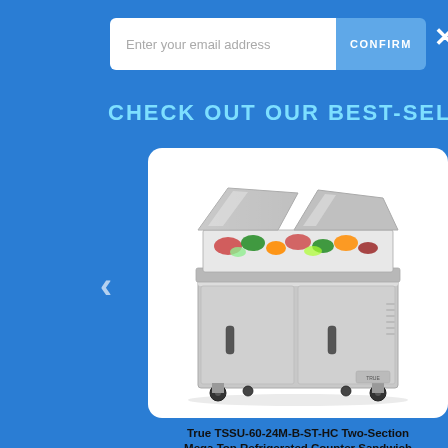Enter your email address
CONFIRM
CHECK OUT OUR BEST-SELLERS
[Figure (photo): True TSSU-60-24M-B-ST-HC Two-Section Mega Top Refrigerated Counter Sandwich/Salad Unit on casters with lids open showing food pans]
True TSSU-60-24M-B-ST-HC Two-Section Mega Top Refrigerated Counter Sandwich